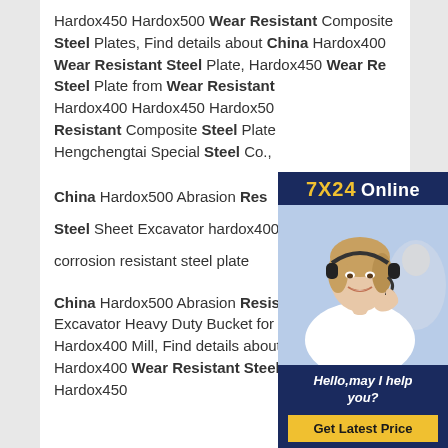Hardox450 Hardox500 Wear Resistant Composite Steel Plates, Find details about China Hardox400 Wear Resistant Steel Plate, Hardox450 Wear Resistant Steel Plate from Wear Resistant Hardox400 Hardox450 Hardox500 Resistant Composite Steel Plate - Hengchengtai Special Steel Co.,
[Figure (photo): Customer service advertisement banner with dark navy blue background showing '7X24 Online', a photo of a smiling woman wearing a headset/microphone, text 'Hello,may I help you?' and a yellow 'Get Latest Price' button.]
China Hardox500 Abrasion Resistant Steel Sheet Excavator hardox400 corrosion resistant steel plate
China Hardox500 Abrasion Resistant Steel Sheet Excavator Heavy Duty Bucket for Hitachi Nm400 Hardox400 Mill, Find details about China Hardox400 Wear Resistant Steel Plate, Hardox450